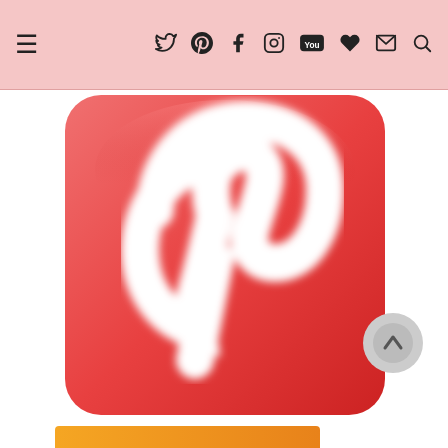Navigation bar with hamburger menu and social icons: Twitter, Pinterest, Facebook, Instagram, YouTube, Heart, Email, Search
[Figure (logo): Pinterest logo — white stylized 'P' on a red rounded-square background, blurred/large icon centered on page]
[Figure (other): Scroll-to-top button — circular gray button with upward chevron, bottom-right corner]
[Figure (other): Orange gradient bar at bottom of page]